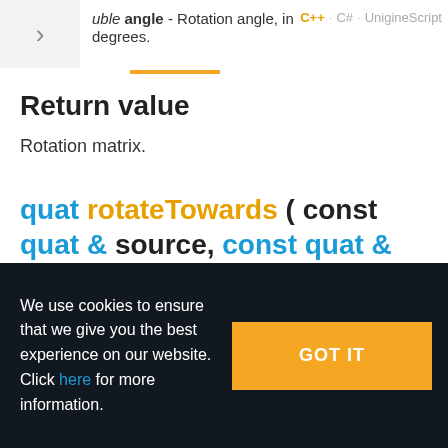uble angle - Rotation angle, in degrees. | C++ | C# | UnigineScript
Return value
Rotation matrix.
quat rotateTowards ( const quat & source, const quat & target, float max_angle )
We use cookies to ensure that we give you the best experience on our website. Click here for more information.